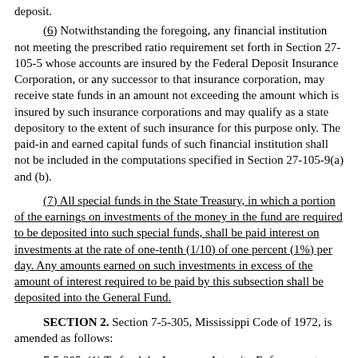deposit.
(6)  Notwithstanding the foregoing, any financial institution not meeting the prescribed ratio requirement set forth in Section 27-105-5 whose accounts are insured by the Federal Deposit Insurance Corporation, or any successor to that insurance corporation, may receive state funds in an amount not exceeding the amount which is insured by such insurance corporations and may qualify as a state depository to the extent of such insurance for this purpose only.  The paid-in and earned capital funds of such financial institution shall not be included in the computations specified in Section 27-105-9(a) and (b).
(7)  All special funds in the State Treasury, in which a portion of the earnings on investments of the money in the fund are required to be deposited into such special funds, shall be paid interest on investments at the rate of one-tenth (1/10) of one percent (1%) per day.  Any amounts earned on such investments in excess of the amount of interest required to be paid by this subsection shall be deposited into the General Fund.
SECTION 2.  Section 7-5-305, Mississippi Code of 1972, is amended as follows:
7-5-305.  (1)  To fund the Insurance Integrity Enforcement Bureau, the Workers' Compensation Commission may assess each